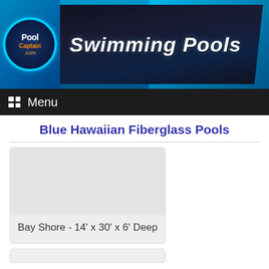[Figure (logo): PoolCaptain.com website header banner with logo on left showing a circular emblem with 'Pool Captain' text, and 'Swimming Pools' text in italic white on a dark background, with blue water design elements]
Menu
Blue Hawaiian Fiberglass Pools
[Figure (photo): Gray placeholder image for pool photo]
Bay Shore - 14' x 30' x 6' Deep
[Figure (photo): Partial gray placeholder image for second pool photo, cut off at bottom of page]